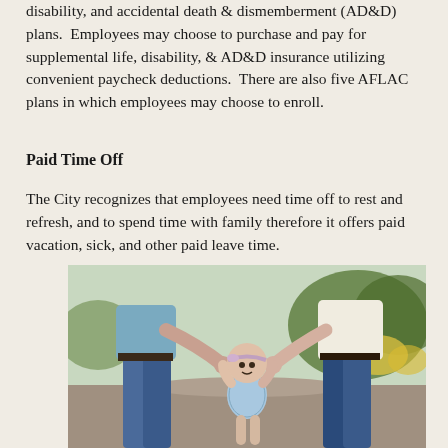disability, and accidental death & dismemberment (AD&D) plans.  Employees may choose to purchase and pay for supplemental life, disability, & AD&D insurance utilizing convenient paycheck deductions.  There are also five AFLAC plans in which employees may choose to enroll.
Paid Time Off
The City recognizes that employees need time off to rest and refresh, and to spend time with family therefore it offers paid vacation, sick, and other paid leave time.
[Figure (photo): A family photo showing two adults holding the hands of a toddler between them, walking outdoors on a path with trees and flowers in the background.]